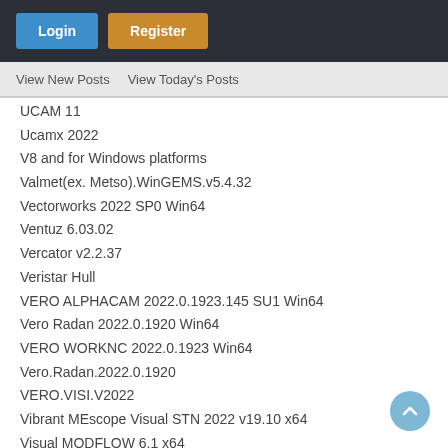Login | Register
View New Posts   View Today's Posts
UCAM 11
Ucamx 2022
V8 and for Windows platforms
Valmet(ex. Metso).WinGEMS.v5.4.32
Vectorworks 2022 SP0 Win64
Ventuz 6.03.02
Vercator v2.2.37
Veristar Hull
VERO ALPHACAM 2022.0.1923.145 SU1 Win64
Vero Radan 2022.0.1920 Win64
VERO WORKNC 2022.0.1923 Win64
Vero.Radan.2022.0.1920
VERO.VISI.V2022
Vibrant MEscope Visual STN 2022 v19.10 x64
Visual MODFLOW 6.1 x64
vMix Pro 22.0
VPIphotonics Design Suite Expert 10.0
YUMA3D network 2022